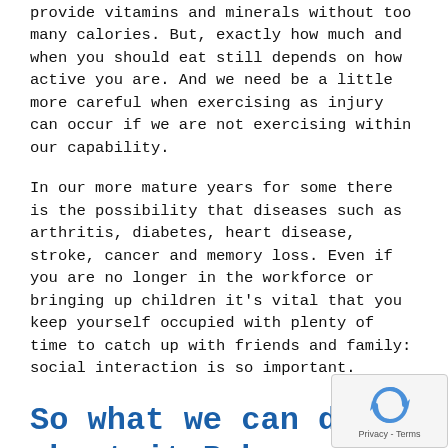provide vitamins and minerals without too many calories. But, exactly how much and when you should eat still depends on how active you are. And we need be a little more careful when exercising as injury can occur if we are not exercising within our capability.
In our more mature years for some there is the possibility that diseases such as arthritis, diabetes, heart disease, stroke, cancer and memory loss. Even if you are no longer in the workforce or bringing up children it's vital that you keep yourself occupied with plenty of time to catch up with friends and family: social interaction is so important.
So what we can do about it Baby Boomers